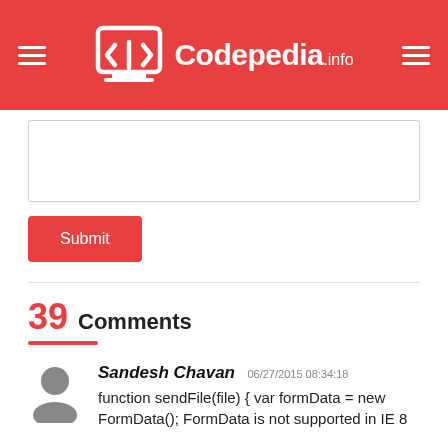Codepedia.info
[textarea input box]
Submit
39 Comments
Sandesh Chavan 06/27/2015 08:34:18
function sendFile(file) { var formData = new FormData(); FormData is not supported in IE 8
Deepak karma 01/18/2016 12:31:11
Yes, you are right IE is still looks outdated even IE 10